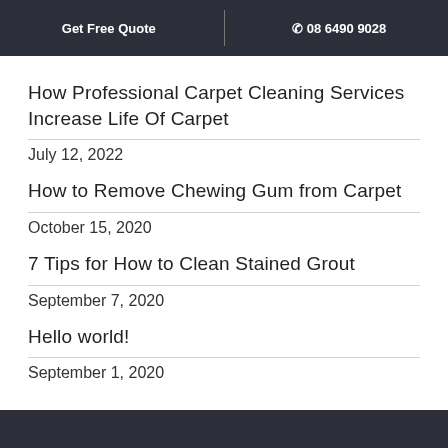Get Free Quote  |  ☎ 08 6490 9028
How Professional Carpet Cleaning Services Increase Life Of Carpet
July 12, 2022
How to Remove Chewing Gum from Carpet
October 15, 2020
7 Tips for How to Clean Stained Grout
September 7, 2020
Hello world!
September 1, 2020